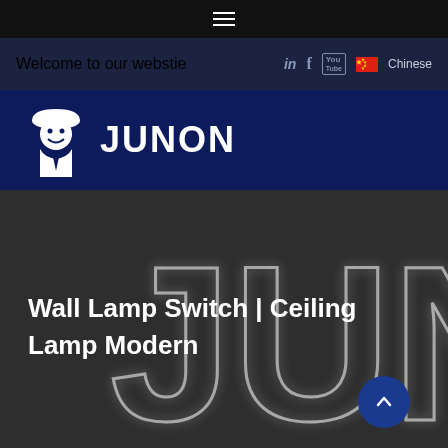[Figure (screenshot): Hamburger menu icon (three horizontal lines) on black bar]
Welcome to our webstie
[Figure (logo): JUNON company logo with construction worker mascot and bold JUNON text on dark navy background]
Wall Lamp Switch | Ceiling
Lamp Modern
[Figure (illustration): Large outlined JUN letters in glowing white neon style on dark background]